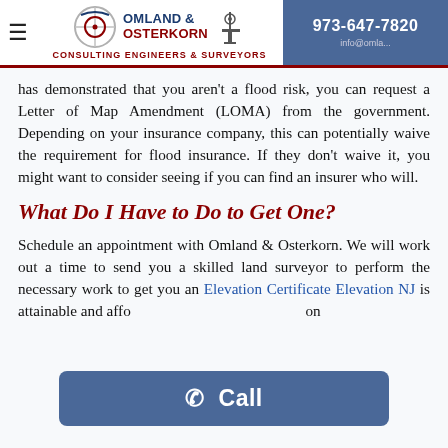Omland & Osterkorn Consulting Engineers & Surveyors | 973-647-7820
has demonstrated that you aren't a flood risk, you can request a Letter of Map Amendment (LOMA) from the government. Depending on your insurance company, this can potentially waive the requirement for flood insurance. If they don't waive it, you might want to consider seeing if you can find an insurer who will.
What Do I Have to Do to Get One?
Schedule an appointment with Omland & Osterkorn. We will work out a time to send you a skilled land surveyor to perform the necessary work to get you an Elevation Certificate Elevation NJ is attainable and affo... on